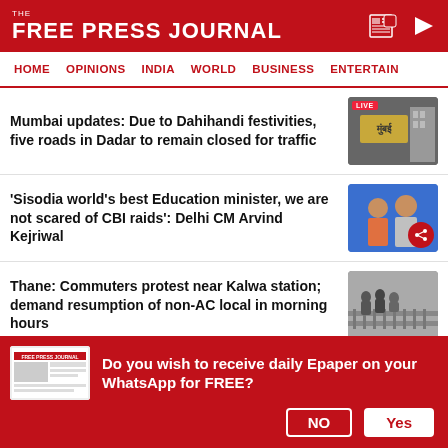THE FREE PRESS JOURNAL
HOME | OPINIONS | INDIA | WORLD | BUSINESS | ENTERTAIN
Mumbai updates: Due to Dahihandi festivities, five roads in Dadar to remain closed for traffic
'Sisodia world's best Education minister, we are not scared of CBI raids': Delhi CM Arvind Kejriwal
Thane: Commuters protest near Kalwa station; demand resumption of non-AC local in morning hours
Sena vs Sena round 2: Dahi Handi
Do you wish to receive daily Epaper on your WhatsApp for FREE?